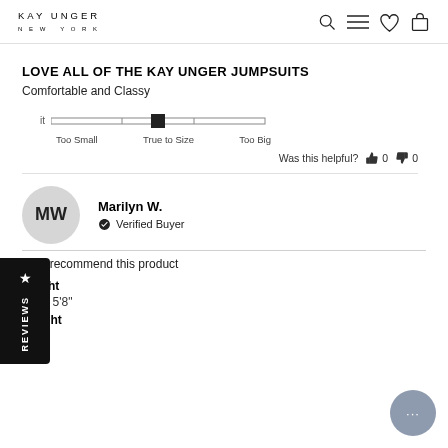KAY UNGER NEW YORK
LOVE ALL OF THE KAY UNGER JUMPSUITS
Comfortable and Classy
[Figure (infographic): Fit slider showing marker positioned at True to Size, with labels Too Small on left, True to Size in center, Too Big on right]
Was this helpful? 👍 0 👎 0
Marilyn W. — Verified Buyer
I recommend this product
Height
5'6" - 5'8"
Weight